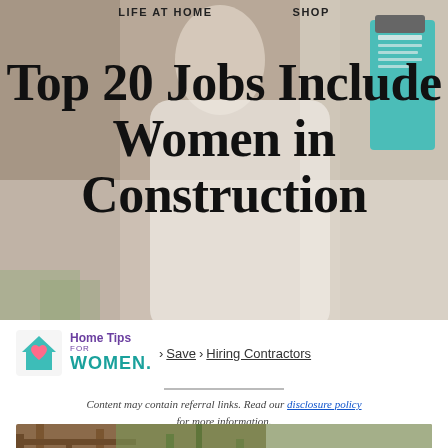LIFE AT HOME    SHOP
[Figure (photo): Woman in white shirt holding a teal clipboard, standing near a window. Background shows blurred stone wall and greenery.]
Top 20 Jobs Include Women in Construction
[Figure (logo): Home Tips for Women logo — teal house icon with heart, purple and teal text.]
> Save > Hiring Contractors
Content may contain referral links. Read our disclosure policy for more information.
[Figure (photo): Partial image of wooden construction frame or structure with greenery visible in background.]